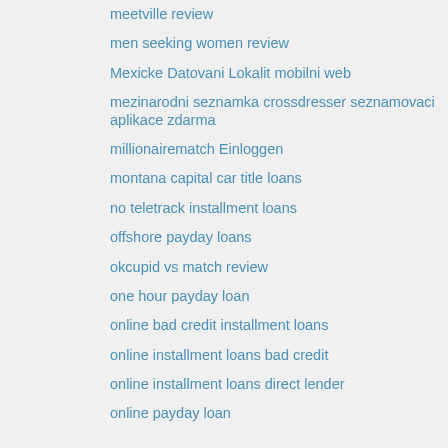meetville review
men seeking women review
Mexicke Datovani Lokalit mobilni web
mezinarodni seznamka crossdresser seznamovaci aplikace zdarma
millionairematch Einloggen
montana capital car title loans
no teletrack installment loans
offshore payday loans
okcupid vs match review
one hour payday loan
online bad credit installment loans
online installment loans bad credit
online installment loans direct lender
online payday loan